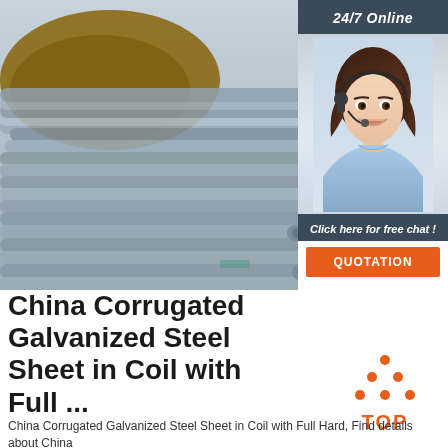[Figure (photo): Stack of galvanized steel rods/pipes piled outdoors on dirt ground, metallic grey color]
[Figure (photo): Customer service lady wearing headset smiling, with 24/7 Online banner above and Click here for free chat text and QUOTATION button below]
China Corrugated Galvanized Steel Sheet in Coil with Full ...
[Figure (logo): TOP logo with orange triangle/chevron dots above the word TOP in orange]
China Corrugated Galvanized Steel Sheet in Coil with Full Hard, Find details about China